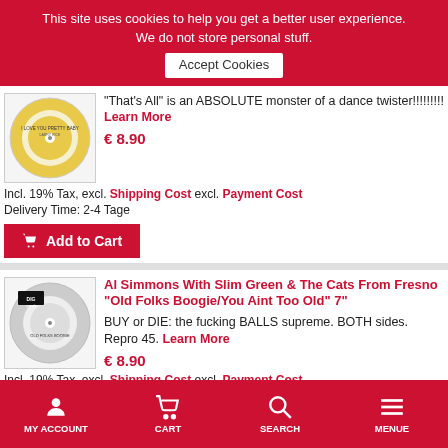This site uses cookies to help you get a better user experience. We do not store personal stuff.
Accept Cookies
"That's All" is an ABSOLUTE monster of a dance twister!!!!!!!!! Learn More
€ 8.90
Incl. 19% Tax, excl. Shipping Cost excl. Payment Cost
Delivery Time: 2-4 Tage
Add to Cart
Al Simmons With Slim Green & The Cats From Fresno "Old Folks Boogie/You Aint Too Old" 7"
BUY or DIE: the fucking BALLS supreme. BOTH sides. Repro 45. Learn More
€ 8.90
Incl. 19% Tax, excl. Shipping Cost excl. Payment Cost
Delivery Time: 2-4 Tage
MY ACCOUNT  CART  SEARCH  MENUE